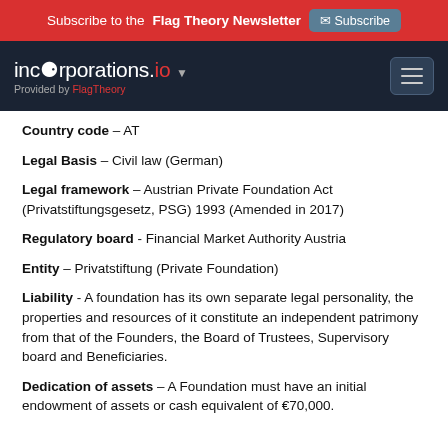Subscribe to the Flag Theory Newsletter  Subscribe
incorporations.io  Provided by FlagTheory
Country code – AT
Legal Basis – Civil law (German)
Legal framework – Austrian Private Foundation Act (Privatstiftungsgesetz, PSG) 1993 (Amended in 2017)
Regulatory board - Financial Market Authority Austria
Entity – Privatstiftung (Private Foundation)
Liability - A foundation has its own separate legal personality, the properties and resources of it constitute an independent patrimony from that of the Founders, the Board of Trustees, Supervisory board and Beneficiaries.
Dedication of assets – A Foundation must have an initial endowment of assets or cash equivalent of €70,000.